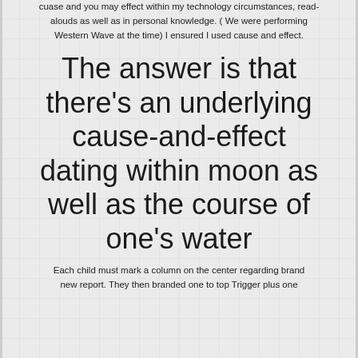cuase and you may effect within my technology circumstances, read-alouds as well as in personal knowledge. ( We were performing Western Wave at the time) I ensured I used cause and effect.
The answer is that there's an underlying cause-and-effect dating within moon as well as the course of one's water
Each child must mark a column on the center regarding brand new report. They then branded one to top Trigger plus one